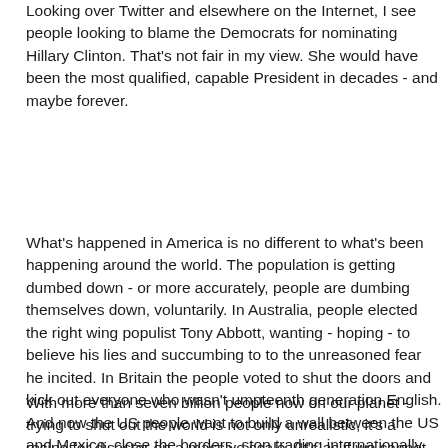Looking over Twitter and elsewhere on the Internet, I see people looking to blame the Democrats for nominating Hillary Clinton. That's not fair in my view. She would have been the most qualified, capable President in decades - and maybe forever.
What's happened in America is no different to what's been happening around the world. The population is getting dumbed down - or more accurately, people are dumbing themselves down, voluntarily. In Australia, people elected the right wing populist Tony Abbott, wanting - hoping - to believe his lies and succumbing to to the unreasoned fear he incited. In Britain the people voted to shut the doors and kick out everyone who wasn't umpteenth generation English. And now the US people want to build a wall between the US and Mexico, close the borders, stop trading internationally, let people die in the streets without health care, and expel everyone who isn't an umpteenth generation American.
With more than seven billion people now on our planet - trying to shut out the world is not only unrealistic, it's a recipe for disaster on a massive scale. (It's as if we cannot cope